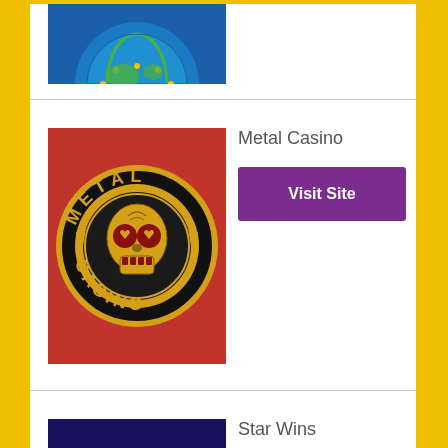[Figure (logo): Partially visible casino logo with blue background and circular emblem at top of page]
[Figure (logo): Metal Casino logo: black circular badge with gold lettering 'METAL CASINO' and a Day of the Dead skull on red background]
Metal Casino
Visit Site
[Figure (logo): Star Wins casino logo on dark blue background with red and yellow text 'StarWins']
Star Wins
Visit Site